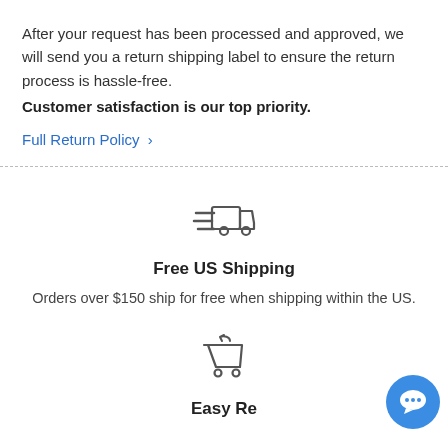After your request has been processed and approved, we will send you a return shipping label to ensure the return process is hassle-free. Customer satisfaction is our top priority.
Full Return Policy >
[Figure (illustration): Fast shipping truck icon with speed lines]
Free US Shipping
Orders over $150 ship for free when shipping within the US.
[Figure (illustration): Shopping cart with return arrow icon]
Easy Returns